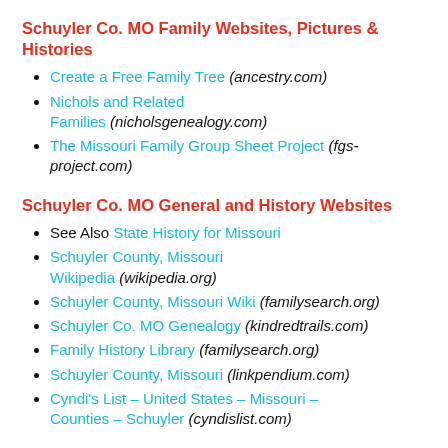Schuyler Co. MO Family Websites, Pictures & Histories
Create a Free Family Tree (ancestry.com)
Nichols and Related Families (nicholsgenealogy.com)
The Missouri Family Group Sheet Project (fgs-project.com)
Schuyler Co. MO General and History Websites
See Also State History for Missouri
Schuyler County, Missouri Wikipedia (wikipedia.org)
Schuyler County, Missouri Wiki (familysearch.org)
Schuyler Co. MO Genealogy (kindredtrails.com)
Family History Library (familysearch.org)
Schuyler County, Missouri (linkpendium.com)
Cyndi's List – United States – Missouri – Counties – Schuyler (cyndislist.com)